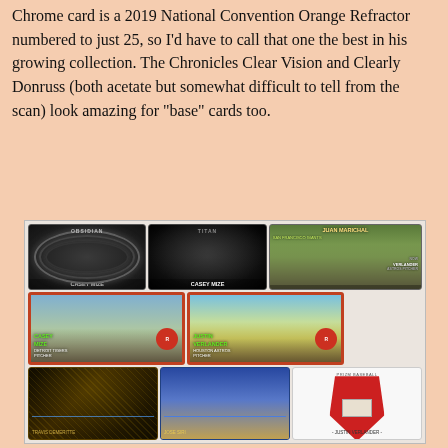Chrome card is a 2019 National Convention Orange Refractor numbered to just 25, so I'd have to call that one the best in his growing collection. The Chronicles Clear Vision and Clearly Donruss (both acetate but somewhat difficult to tell from the scan) look amazing for "base" cards too.
[Figure (photo): A collage of baseball trading cards arranged in a 3-row grid. Top row: Obsidian Casey Mize card, Titan Casey Mize black card, Juan Marichal retro card, and Justin Verlander Then/Now card. Middle row: Casey Mize Heritage card (Detroit Tigers, Pitcher), Justin Verlander Heritage card (Houston Astros, Pitcher). Bottom row: Dark foil auto card with signature, Blue auto card with signature, Red shield relic card of Justin Verlander.]